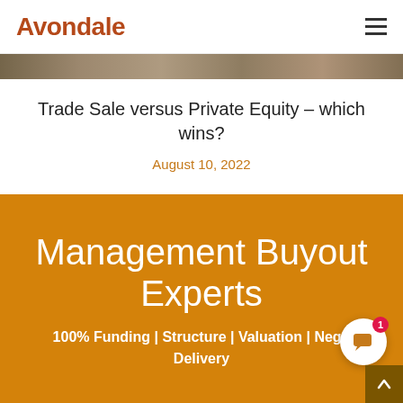Avondale
[Figure (photo): Decorative hero banner image with earthy brown tones]
Trade Sale versus Private Equity – which wins?
August 10, 2022
Management Buyout Experts
100% Funding | Structure | Valuation | Nego... Delivery